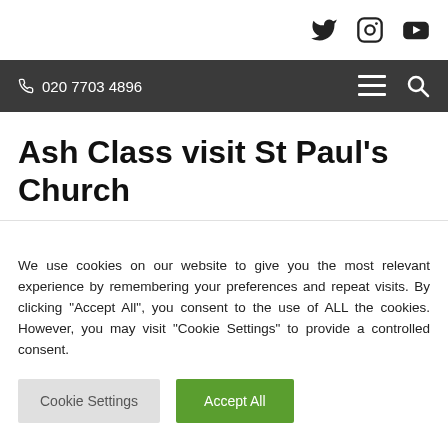Social icons: Twitter, Instagram, YouTube
☎ 020 7703 4896 | Menu | Search
Ash Class visit St Paul's Church
We use cookies on our website to give you the most relevant experience by remembering your preferences and repeat visits. By clicking "Accept All", you consent to the use of ALL the cookies. However, you may visit "Cookie Settings" to provide a controlled consent.
Cookie Settings | Accept All